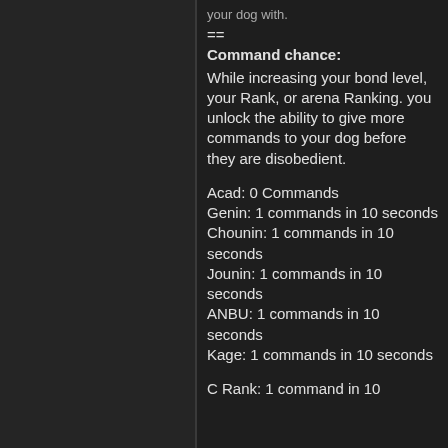==
Command chance:
While increasing your bond level, your Rank, or arena Ranking. you unlock the ability to give more commands to your dog before they are disobedient.
Acad: 0 Commands
Genin: 1 commands in 10 seconds
Chounin: 1 commands in 10 seconds
Jounin: 1 commands in 10 seconds
ANBU: 1 commands in 10 seconds
Kage: 1 commands in 10 seconds
C Rank: 1 command in 10